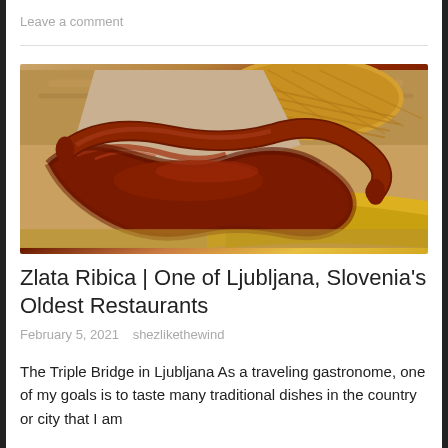Leave a comment
[Figure (photo): A plate of traditional grilled sausages (kranjska klobasa) coiled on a wooden board with a wicker basket and cloth napkin in the background.]
Zlata Ribica | One of Ljubljana, Slovenia's Oldest Restaurants
February 5, 2021   shezlikethewind
The Triple Bridge in Ljubljana As a traveling gastronome, one of my goals is to taste many traditional dishes in the country or city that I am